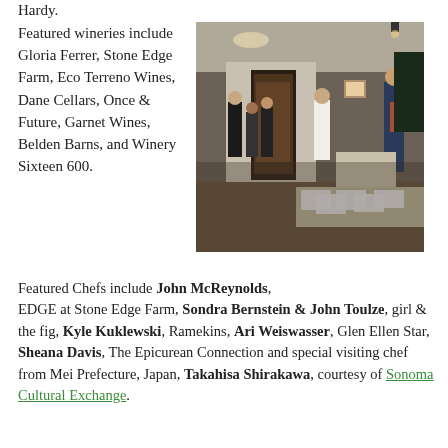Hardy.
Featured wineries include Gloria Ferrer, Stone Edge Farm, Eco Terreno Wines, Dane Cellars, Once & Future, Garnet Wines, Belden Barns, and Winery Sixteen 600.
[Figure (photo): Indoor event with guests gathered in a modern room, a man in a suit speaking on the right, staff in white near a table with printed menus.]
Featured Chefs include John McReynolds, EDGE at Stone Edge Farm, Sondra Bernstein & John Toulze, girl & the fig, Kyle Kuklewski, Ramekins, Ari Weiswasser, Glen Ellen Star, Sheana Davis, The Epicurean Connection and special visiting chef from Mei Prefecture, Japan, Takahisa Shirakawa, courtesy of Sonoma Cultural Exchange.